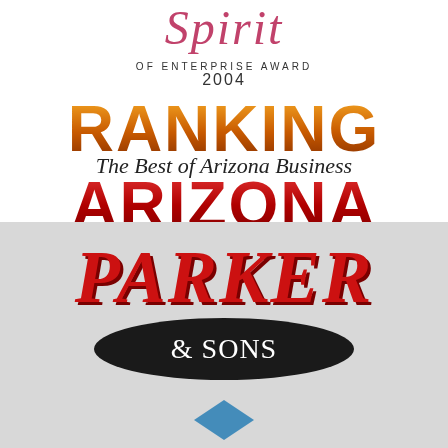[Figure (logo): Spirit of Enterprise Award 2004 logo — cursive script 'Spirit' in rose/pink color above small caps text 'of Enterprise Award' and year '2004']
[Figure (logo): Ranking Arizona — The Best of Arizona Business logo. 'RANKING' in large orange gradient bold impact font, 'The Best of Arizona Business' in cursive script overlaid, 'ARIZONA' in large dark red gradient bold impact font below.]
[Figure (logo): Parker & Sons logo. 'PARKER' in large bold italic red serif font with dark shadow, '& SONS' in white text inside a black oval/ellipse shape below.]
[Figure (logo): Partial blue diamond/rhombus shape visible at very bottom of page, partial crop.]